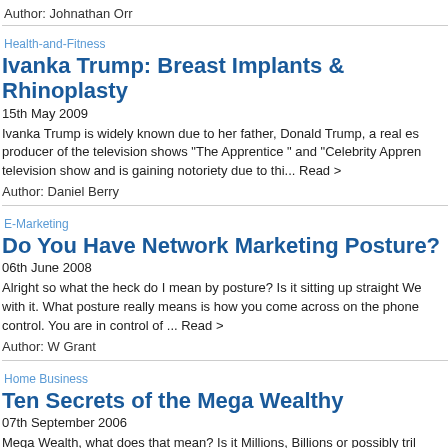Author: Johnathan Orr
Health-and-Fitness
Ivanka Trump: Breast Implants & Rhinoplasty
15th May 2009
Ivanka Trump is widely known due to her father, Donald Trump, a real es producer of the television shows "The Apprentice " and "Celebrity Appren television show and is gaining notoriety due to thi... Read >
Author: Daniel Berry
E-Marketing
Do You Have Network Marketing Posture?
06th June 2008
Alright so what the heck do I mean by posture? Is it sitting up straight We with it. What posture really means is how you come across on the phone control. You are in control of ... Read >
Author: W Grant
Home Business
Ten Secrets of the Mega Wealthy
07th September 2006
Mega Wealth, what does that mean? Is it Millions, Billions or possibly tril